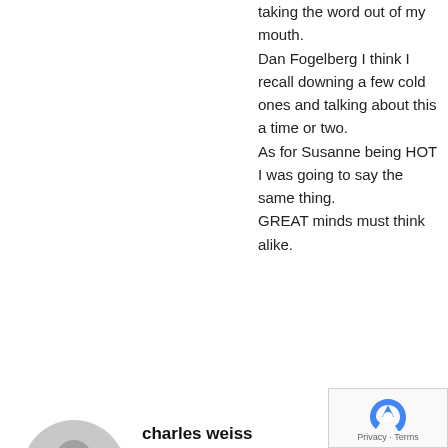taking the word out of my mouth.
Dan Fogelberg I think I recall downing a few cold ones and talking about this a time or two.
As for Susanne being HOT I was going to say the same thing.
GREAT minds must think alike.
[Figure (illustration): Default grey avatar icon showing a silhouette of a person (head and shoulders) on a light grey circular background.]
charles weiss
Reply
November 15, 2013 at 4:44 pm
The Dan Fogelberg as a muskie guide, very unique.
Willy Nelson headband , once again a great look “On the Boat Again, On the Road Again…”
I like the large amount of crap foun...